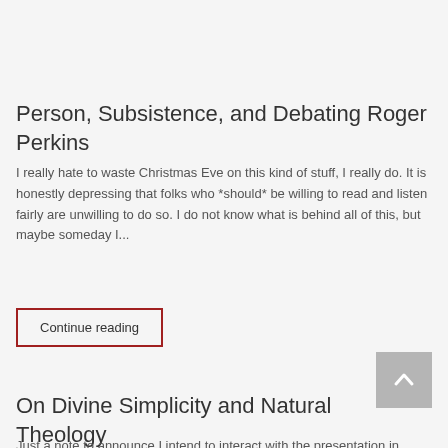Person, Subsistence, and Debating Roger Perkins
I really hate to waste Christmas Eve on this kind of stuff, I really do. It is honestly depressing that folks who *should* be willing to read and listen fairly are unwilling to do so. I do not know what is behind all of this, but maybe someday I...
Continue reading
On Divine Simplicity and Natural Theology
Just a note to announce I intend to interact with the presentation in